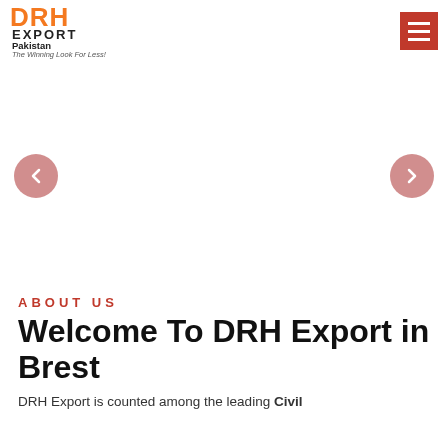[Figure (logo): DRH Export Pakistan logo with orange lettering and tagline 'The Winning Look For Less!']
[Figure (other): Website header area with hamburger menu button (red background, white lines) on the right]
[Figure (other): Image slider area with left and right navigation arrows (pink/red circles with chevrons)]
ABOUT US
Welcome To DRH Export in Brest
DRH Export is counted among the leading Civil